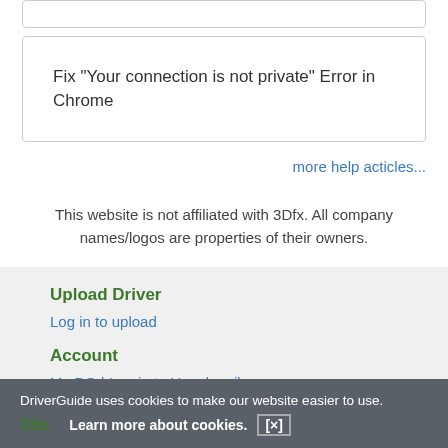Fix "Your connection is not private" Error in Chrome
more help acticles...
This website is not affiliated with 3Dfx. All company names/logos are properties of their owners.
Upload Driver
Log in to upload
Account
My DG | Log in to Unsubscribe
Site
Support
DriverGuide uses cookies to make our website easier to use.
Learn more about cookies.  [×]